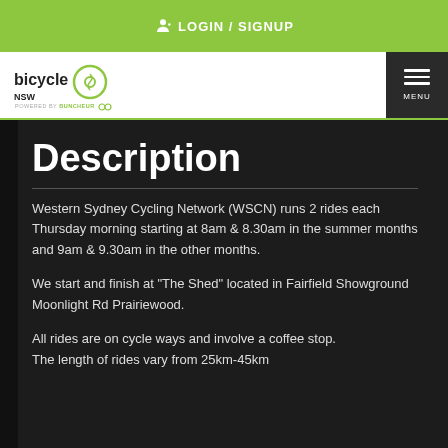LOGIN / SIGNUP
[Figure (logo): Bicycle NSW logo with circular icon, powered by Bunch Rider]
Description
Western Sydney Cycling Network (WSCN) runs 2 rides each Thursday morning starting at 8am & 8.30am in the summer months and 9am & 9.30am in the other months.
We start and finish at "The Shed" located in Fairfield Showground Moonlight Rd Prairiewood.
All rides are on cycle ways and involve a coffee stop. The length of rides vary from 25km-45km